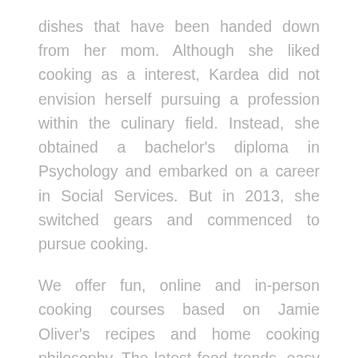dishes that have been handed down from her mom. Although she liked cooking as a interest, Kardea did not envision herself pursuing a profession within the culinary field. Instead, she obtained a bachelor's diploma in Psychology and embarked on a career in Social Services. But in 2013, she switched gears and commenced to pursue cooking.
We offer fun, online and in-person cooking courses based on Jamie Oliver's recipes and home cooking philosophy. The latest food trends, easy recipes and healthy meal concepts that can assist you cook smarter. I was never one for math, chemistry or any sort of science till I began cooking. This guide is a good resource and packed tight with incredible attention and big food d...